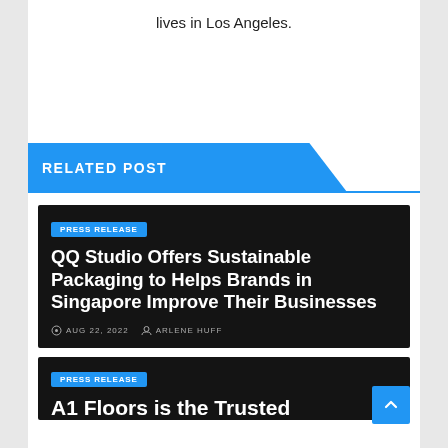lives in Los Angeles.
RELATED POST
PRESS RELEASE
QQ Studio Offers Sustainable Packaging to Helps Brands in Singapore Improve Their Businesses
AUG 22, 2022   ARLENE HUFF
PRESS RELEASE
A1 Floors is the Trusted